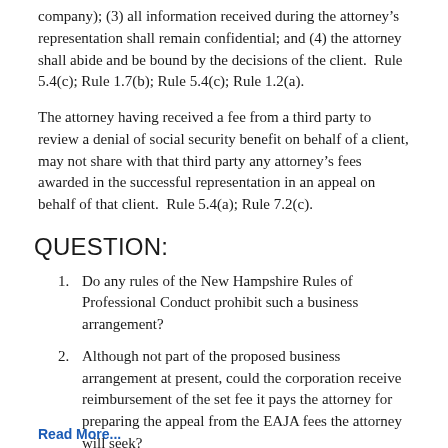company); (3) all information received during the attorney's representation shall remain confidential; and (4) the attorney shall abide and be bound by the decisions of the client.  Rule 5.4(c); Rule 1.7(b); Rule 5.4(c); Rule 1.2(a).
The attorney having received a fee from a third party to review a denial of social security benefit on behalf of a client, may not share with that third party any attorney's fees awarded in the successful representation in an appeal on behalf of that client.  Rule 5.4(a); Rule 7.2(c).
QUESTION:
1. Do any rules of the New Hampshire Rules of Professional Conduct prohibit such a business arrangement?
2. Although not part of the proposed business arrangement at present, could the corporation receive reimbursement of the set fee it pays the attorney for preparing the appeal from the EAJA fees the attorney will seek?
Read More...